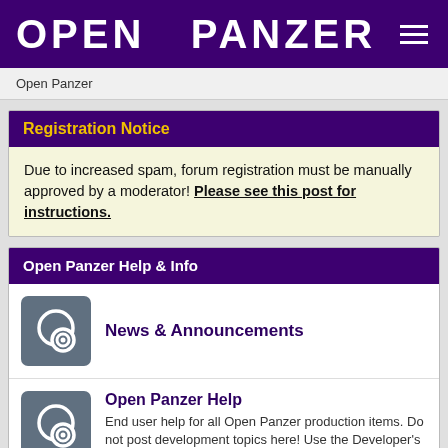OPEN PANZER
Open Panzer
Registration Notice
Due to increased spam, forum registration must be manually approved by a moderator! Please see this post for instructions.
Open Panzer Help & Info
News & Announcements
Open Panzer Help
End user help for all Open Panzer production items. Do not post development topics here! Use the Developer's forum for that instead.